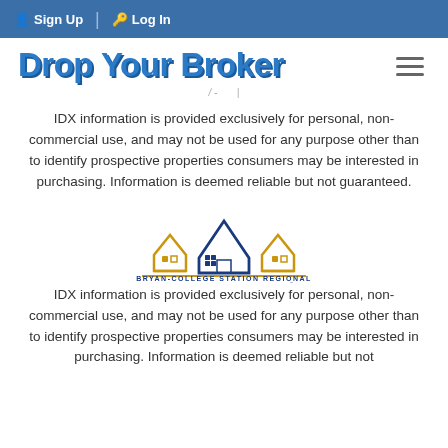Sign Up  |  Log In
Drop Your Broker
IDX information is provided exclusively for personal, non-commercial use, and may not be used for any purpose other than to identify prospective properties consumers may be interested in purchasing. Information is deemed reliable but not guaranteed.
[Figure (logo): Bryan-College Station Regional Association of Realtors logo with two gold houses and one blue house, gold horizontal line, text BRYAN-COLLEGE STATION REGIONAL ASSOCIATION of REALTORS]
IDX information is provided exclusively for personal, non-commercial use, and may not be used for any purpose other than to identify prospective properties consumers may be interested in purchasing. Information is deemed reliable but not